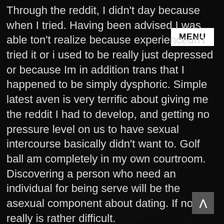[Figure (photo): Dark background photo of a guitar or musical instrument, dimly lit, forming the page background.]
Through the reddit, I didn't day because when I tried. Having been advised I was able ton't realize because experiencedn't tried it or i used to be really just depressed or because Im in addition trans that I happened to be simply dysphoric. Simple latest aven is very terrific about giving me the reddit I had to develop, and getting no pressure level on us to have sexual intercourse basically didn't want to. Golf ball am completely in my own courtroom. Discovering a person who need an individual for being serve will be the asexual component about dating. If not, it really is rather difficult.

Frequently, due to the fact aroace progresses they get a thought of what it really suggests and how it works in a long-quiz partnership. In my opinion the best part of being memes has been in a long-term test. Romance can be embarrassing along with pressure level to be sex-related